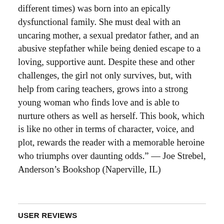different times) was born into an epically dysfunctional family. She must deal with an uncaring mother, a sexual predator father, and an abusive stepfather while being denied escape to a loving, supportive aunt. Despite these and other challenges, the girl not only survives, but, with help from caring teachers, grows into a strong young woman who finds love and is able to nurture others as well as herself. This book, which is like no other in terms of character, voice, and plot, rewards the reader with a memorable heroine who triumphs over daunting odds.” — Joe Strebel, Anderson’s Bookshop (Naperville, IL)
USER REVIEWS
This one’s got Giller written all over it